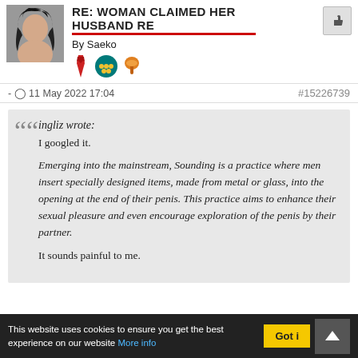RE: WOMAN CLAIMED HER HUSBAND RE
By Saeko
- 11 May 2022 17:04
#15226739
ingliz wrote:
I googled it.

Emerging into the mainstream, Sounding is a practice where men insert specially designed items, made from metal or glass, into the opening at the end of their penis. This practice aims to enhance their sexual pleasure and even encourage exploration of the penis by their partner.

It sounds painful to me.
This website uses cookies to ensure you get the best experience on our website More info